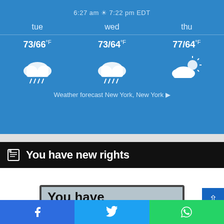[Figure (infographic): Weather widget showing 3-day forecast for New York. Time: 6:27 am to 7:22 pm EDT. Tue: 73/66°F with rain cloud icon. Wed: 73/64°F with rain cloud icon. Thu: 77/64°F with partly cloudy sun icon. Link: Weather forecast New York, New York ▶]
6:27 am ☀ 7:22 pm EDT
tue  73/66°F | wed  73/64°F | thu  77/64°F
Weather forecast New York, New York ▶
You have new rights
[Figure (photo): Article image showing a white sign with black border reading 'You have new rights.' with a small bird illustration visible at the bottom right]